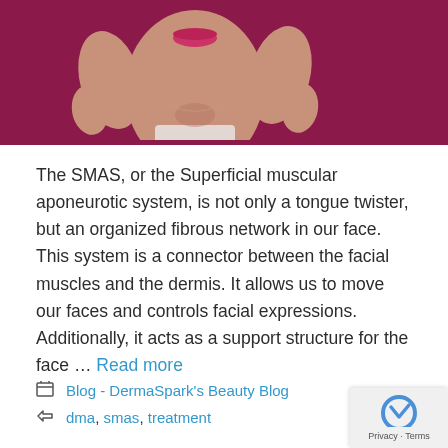[Figure (photo): Cropped photo of a woman's face and neck against a dark maroon/burgundy background, hands raised to her face, wearing a white tank top, with pink lipstick visible]
The SMAS, or the Superficial muscular aponeurotic system, is not only a tongue twister, but an organized fibrous network in our face. This system is a connector between the facial muscles and the dermis. It allows us to move our faces and controls facial expressions. Additionally, it acts as a support structure for the face … Read more
Blog - DermaSpark's Beauty Blog
dma, smas, treatment